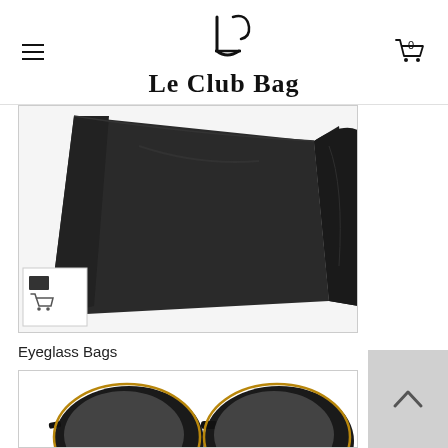Le Club Bag
[Figure (photo): Black cloth eyeglass/sunglasses bag product photo with a thumbnail overlay icon in the lower left corner]
Eyeglass Bags
[Figure (photo): Black oversized sunglasses product photo, partially visible]